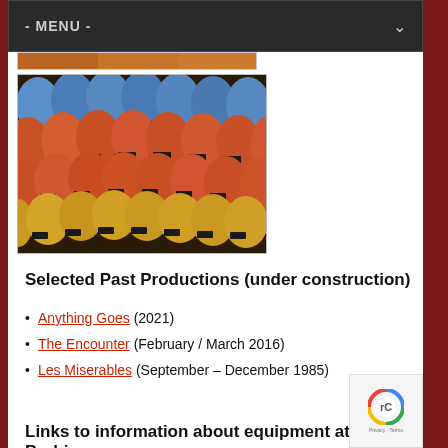- MENU -
[Figure (photo): Partially visible top strip of colorful theatre seats image]
[Figure (photo): Close-up photo of rows of colorful theatre/auditorium seats in blue, orange/red, and yellow/gold colors with numbered seat plaques on the armrests]
Selected Past Productions (under construction)
Anything Goes (2021)
The Encounter (February / March 2016)
Les Miserables (September – December 1985)
Links to information about equipment at Barbican